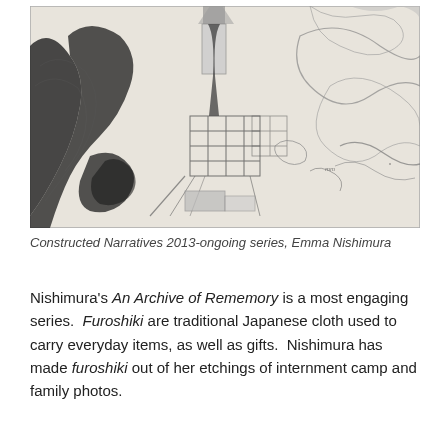[Figure (illustration): A pencil/pen sketch drawing showing a map-like or landscape scene with dark stippled areas on the left side (resembling land or terrain), a central vertical structure with a grid pattern suggesting a town or city plan, and organic flowing lines suggesting mountains or clouds on the right side. The drawing is on light/cream paper and appears to be a hand-drawn etching or graphite illustration.]
Constructed Narratives 2013-ongoing series, Emma Nishimura
Nishimura's An Archive of Rememory is a most engaging series.  Furoshiki are traditional Japanese cloth used to carry everyday items, as well as gifts.  Nishimura has made furoshiki out of her etchings of internment camp and family photos.